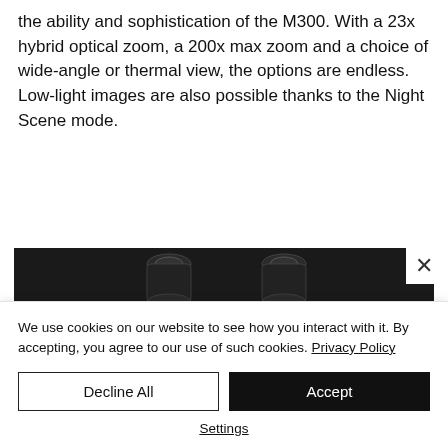the ability and sophistication of the M300. With a 23x hybrid optical zoom, a 200x max zoom and a choice of wide-angle or thermal view, the options are endless. Low-light images are also possible thanks to the Night Scene mode.
[Figure (photo): Dark/black background product photo showing two camera lens tops of the M300 drone camera system]
We use cookies on our website to see how you interact with it. By accepting, you agree to our use of such cookies. Privacy Policy
Decline All
Accept
Settings